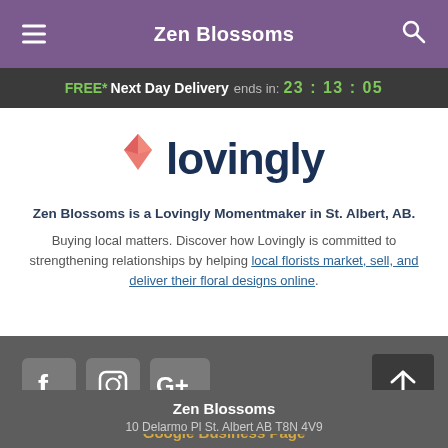Zen Blossoms
FREE* Next Day Delivery ends in: 23:13:05
[Figure (logo): Lovingly logo with pink/red origami heart and dark blue 'lovingly' wordmark]
Zen Blossoms is a Lovingly Momentmaker in St. Albert, AB.
Buying local matters. Discover how Lovingly is committed to strengthening relationships by helping local florists market, sell, and deliver their floral designs online.
[Figure (illustration): Social media icons: Facebook, Instagram, Google Plus, and scroll-to-top arrow button]
Google Business Page
Zen Blossoms
10 Delarmo Pl St. Albert AB T8N 4V9